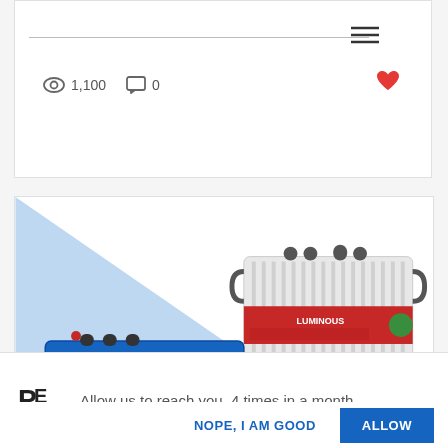[Figure (screenshot): Top card area with a horizontal divider line, hamburger menu icon (three horizontal lines), view count of 1,100, comment count of 0, and a red heart/like icon]
[Figure (photo): Product advertisement card showing two Luminous brand batteries: a white tubular battery (top right) and a blue InverGel battery (bottom left), set against a light blue triangular background]
Allow us to reach you, 4 times in a month
NOPE, I AM GOOD
ALLOW